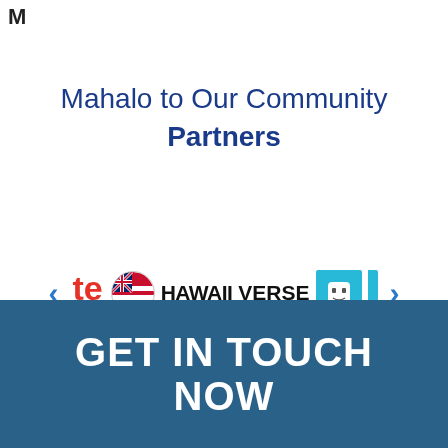M
Mahalo to Our Community Partners
[Figure (logo): Carousel of community partner logos: te Hawaii logo (red letters), Hawaii flag globe icon, HAWAIIVERSE text logo, and a plug icon on cyan background. Left and right navigation arrows in blue.]
GET IN TOUCH NOW